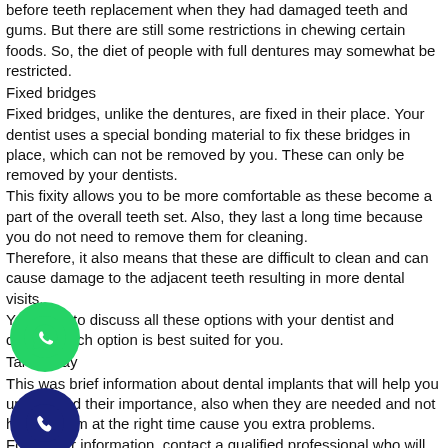before teeth replacement when they had damaged teeth and gums. But there are still some restrictions in chewing certain foods. So, the diet of people with full dentures may somewhat be restricted.
Fixed bridges
Fixed bridges, unlike the dentures, are fixed in their place. Your dentist uses a special bonding material to fix these bridges in place, which can not be removed by you. These can only be removed by your dentists.
This fixity allows you to be more comfortable as these become a part of the overall teeth set. Also, they last a long time because you do not need to remove them for cleaning.
Therefore, it also means that these are difficult to clean and can cause damage to the adjacent teeth resulting in more dental visits.
You need to discuss all these options with your dentist and decide which option is best suited for you.
Take Away
This was brief information about dental implants that will help you understand their importance, also when they are needed and not having them at the right time cause you extra problems.
For further information, contact a qualified professional who will be able to guide you further in the subject of dental implants.
One place is the Orion Dental Care clinic.  At Orion Dental care, you will get the right advice about Dental Implants.
best dental implant in Delhidental implant painDental implant problemsfull dental implantside effects of dental implants